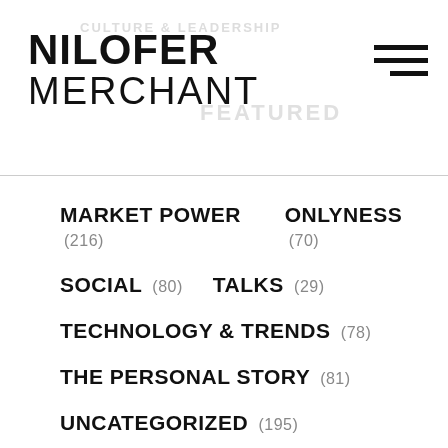CULTURE & LEADERSHIP
NILOFER MERCHANT
MARKET POWER (216)
ONLYNESS (70)
SOCIAL (80)
TALKS (29)
TECHNOLOGY & TRENDS (78)
THE PERSONAL STORY (81)
UNCATEGORIZED (195)